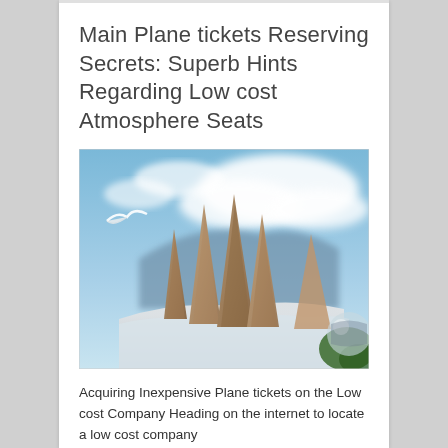Main Plane tickets Reserving Secrets: Superb Hints Regarding Low cost Atmosphere Seats
[Figure (photo): Outdoor scenic photo showing tall rocky mountain spires (Torres del Paine style) with snow at their bases, a blue sky with white clouds in the background, a seagull or white bird flying on the left side, and green foliage and a reflective sphere visible on the right.]
Acquiring Inexpensive Plane tickets on the Low cost Company Heading on the internet to locate a low cost company